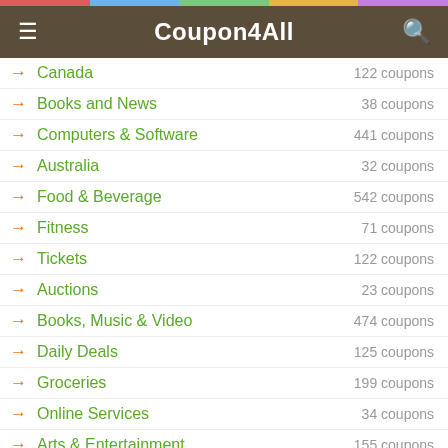Coupon4All
Canada — 122 coupons
Books and News — 38 coupons
Computers & Software — 441 coupons
Australia — 32 coupons
Food & Beverage — 542 coupons
Fitness — 71 coupons
Tickets — 122 coupons
Auctions — 23 coupons
Books, Music & Video — 474 coupons
Daily Deals — 125 coupons
Groceries — 199 coupons
Online Services — 34 coupons
Arts & Entertainment — 155 coupons
Beauty & Personal Care — 703 coupons
Business — 991 coupons
Cellular Phone Services — 96 coupons
Education & Training — 271 coupons
Flowers & Gifts — 547 coupons
Seasonal — 152 coupons
Toys & Games — 216 coupons
Family — (partial)